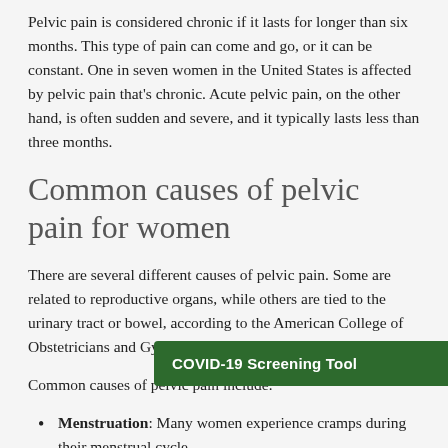Pelvic pain is considered chronic if it lasts for longer than six months. This type of pain can come and go, or it can be constant. One in seven women in the United States is affected by pelvic pain that's chronic. Acute pelvic pain, on the other hand, is often sudden and severe, and it typically lasts less than three months.
Common causes of pelvic pain for women
There are several different causes of pelvic pain. Some are related to reproductive organs, while others are tied to the urinary tract or bowel, according to the American College of Obstetricians and Gynecologists.
Common causes of pelvic pain include:
Menstruation: Many women experience cramps during their menstrual cycle.
Endometriosis: Endometriosis is when the tissue that normally grows inside the uterus grows on the outside of the
[Figure (other): COVID-19 Screening Tool green banner button overlaid on the bottom right of the page]